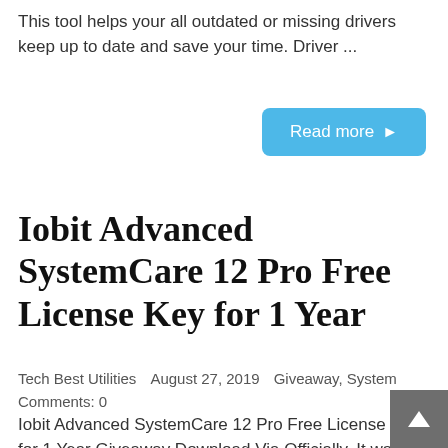This tool helps your all outdated or missing drivers keep up to date and save your time. Driver ...
Read more ►
Iobit Advanced SystemCare 12 Pro Free License Key for 1 Year
Tech Best Utilities   August 27, 2019   Giveaway, System   Comments: 0
Iobit Advanced SystemCare 12 Pro Free License Key for 1 Year Giveaway Download Via Officially. It was one of the best PC optimizations powerful suite and added the latest features that help to speed up your PC. This utility software easily scans your whole PC